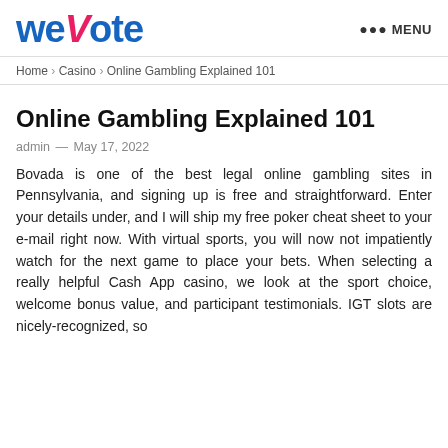weVote  ••• MENU
Home > Casino > Online Gambling Explained 101
Online Gambling Explained 101
admin — May 17, 2022
Bovada is one of the best legal online gambling sites in Pennsylvania, and signing up is free and straightforward. Enter your details under, and I will ship my free poker cheat sheet to your e-mail right now. With virtual sports, you will now not impatiently watch for the next game to place your bets. When selecting a really helpful Cash App casino, we look at the sport choice, welcome bonus value, and participant testimonials. IGT slots are nicely-recognized, so